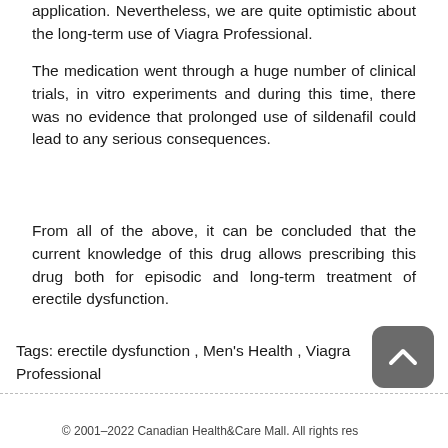application. Nevertheless, we are quite optimistic about the long-term use of Viagra Professional.
The medication went through a huge number of clinical trials, in vitro experiments and during this time, there was no evidence that prolonged use of sildenafil could lead to any serious consequences.
From all of the above, it can be concluded that the current knowledge of this drug allows prescribing this drug both for episodic and long-term treatment of erectile dysfunction.
Tags: erectile dysfunction , Men's Health , Viagra Professional
© 2001–2022 Canadian Health&Care Mall. All rights res